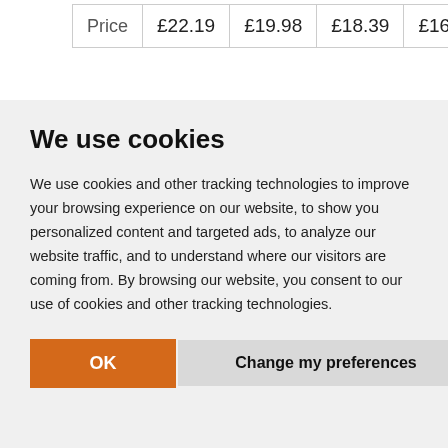| Price | £22.19 | £19.98 | £18.39 | £16.22 |
We use cookies
We use cookies and other tracking technologies to improve your browsing experience on our website, to show you personalized content and targeted ads, to analyze our website traffic, and to understand where our visitors are coming from. By browsing our website, you consent to our use of cookies and other tracking technologies.
OK   Change my preferences